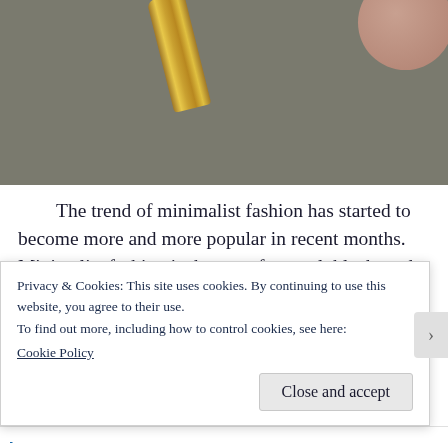[Figure (photo): Overhead flat-lay photo of cosmetics on a grey surface: a gold lipstick/tube on the left center and a round pink/beige compact on the upper right.]
The trend of minimalist fashion has started to become more and more popular in recent months. Minimalist fashion is the use of neutral, black, and white simple wardrobe “staples” in everyday outfits
Privacy & Cookies: This site uses cookies. By continuing to use this website, you agree to their use.
To find out more, including how to control cookies, see here:
Cookie Policy
Close and accept